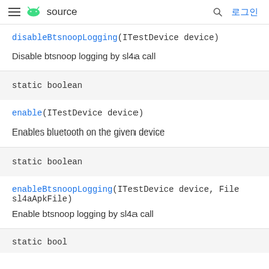≡ source  🔍 로그인
disableBtsnoopLogging(ITestDevice device)
Disable btsnoop logging by sl4a call
static boolean
enable(ITestDevice device)
Enables bluetooth on the given device
static boolean
enableBtsnoopLogging(ITestDevice device, File sl4aApkFile)
Enable btsnoop logging by sl4a call
static bool